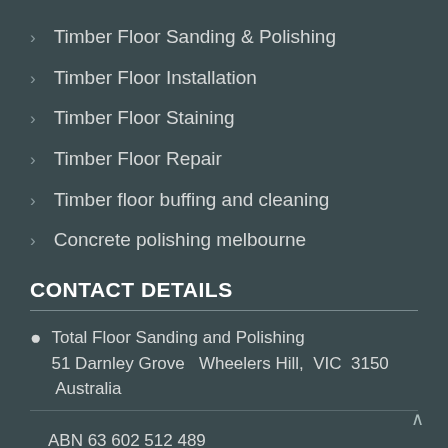Timber Floor Sanding & Polishing
Timber Floor Installation
Timber Floor Staining
Timber Floor Repair
Timber floor buffing and cleaning
Concrete polishing melbourne
CONTACT DETAILS
Total Floor Sanding and Polishing
51 Darnley Grove  Wheelers Hill,  VIC  3150  Australia
ABN 63 602 512 489
0469 939 227